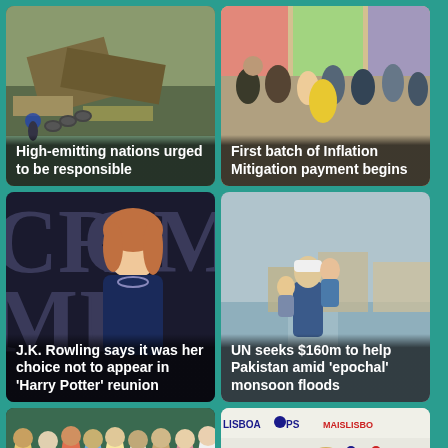[Figure (photo): Disaster/flood debris scene with damaged structures]
High-emitting nations urged to be responsible
[Figure (photo): Crowd of people in street scene, workers with vests]
First batch of Inflation Mitigation payment begins
[Figure (photo): J.K. Rowling at a red carpet/premiere event with dark background and logo letters]
J.K. Rowling says it was her choice not to appear in 'Harry Potter' reunion
[Figure (photo): Man carrying children through floodwater in Pakistan]
UN seeks $160m to help Pakistan amid 'epochal' monsoon floods
[Figure (photo): Group of people at an event or gathering, colorful clothing]
[Figure (photo): Woman speaking at a podium with Lisboa PS and MAISLISBOA banners]